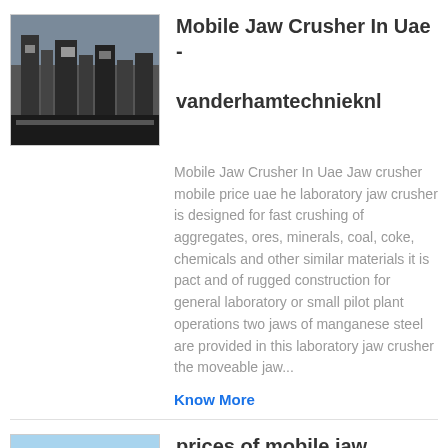[Figure (photo): Industrial jaw crusher machinery, dark industrial equipment]
Mobile Jaw Crusher In Uae - vanderhamtechnieknl
Mobile Jaw Crusher In Uae Jaw crusher mobile price uae he laboratory jaw crusher is designed for fast crushing of aggregates, ores, minerals, coal, coke, chemicals and other similar materials it is pact and of rugged construction for general laboratory or small pilot plant operations two jaws of manganese steel are provided in this laboratory jaw crusher the moveable jaw...
Know More
[Figure (photo): Industrial facility with tall white silos and blue sky]
prices of mobile jaw crusher in uae - kontakty-z-dzieckiempl
prices of mobile jaw crusher in uae Fine